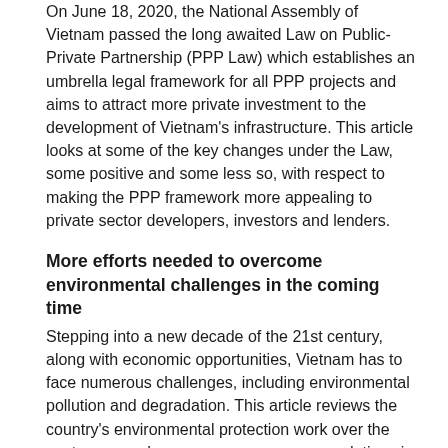On June 18, 2020, the National Assembly of Vietnam passed the long awaited Law on Public-Private Partnership (PPP Law) which establishes an umbrella legal framework for all PPP projects and aims to attract more private investment to the development of Vietnam's infrastructure. This article looks at some of the key changes under the Law, some positive and some less so, with respect to making the PPP framework more appealing to private sector developers, investors and lenders.
More efforts needed to overcome environmental challenges in the coming time
Stepping into a new decade of the 21st century, along with economic opportunities, Vietnam has to face numerous challenges, including environmental pollution and degradation. This article reviews the country's environmental protection work over the past years and proposes some recommendations in the upcoming time.
Environmental protection charge for wastewater to rise from next year
The Government on May 6 issued Decree 53 prescribing